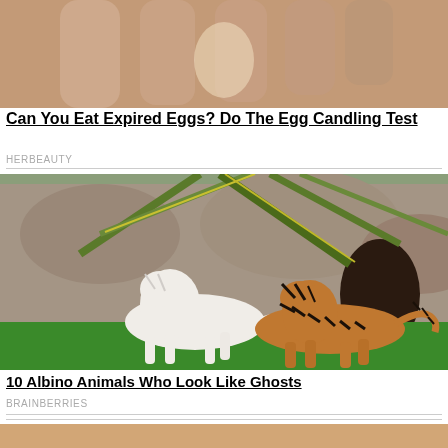[Figure (photo): Close-up photo of fingers holding an egg, partially cropped at top]
Can You Eat Expired Eggs? Do The Egg Candling Test
HERBEAUTY
[Figure (photo): Photo of a white albino tiger and an orange-striped tiger standing on grass with palm trees and rocky background]
10 Albino Animals Who Look Like Ghosts
BRAINBERRIES
[Figure (photo): Partially visible photo at bottom of page, cropped]